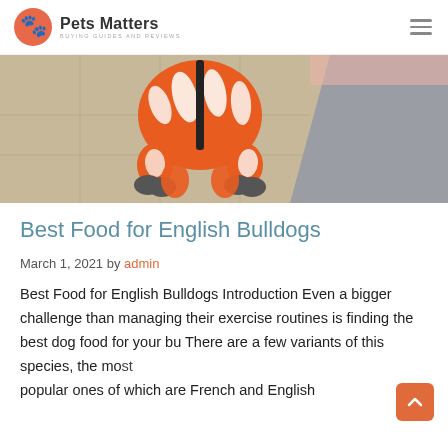Pets Matters
[Figure (photo): A small dog wearing an orange and white striped outfit/costume, photographed from behind on a tiled outdoor surface]
Best Food for English Bulldogs
March 1, 2021 by admin
Best Food for English Bulldogs Introduction Even a bigger challenge than managing their exercise routines is finding the best dog food for your bu There are a few variants of this species, the most popular ones of which are French and English